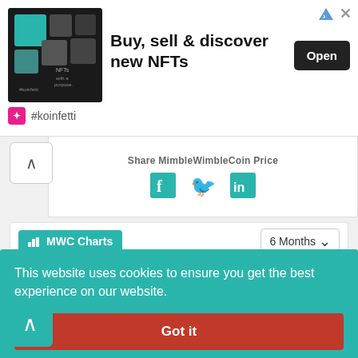[Figure (screenshot): Advertisement banner: 'Buy, sell & discover new NFTs' with Open button and NFT thumbnail images, koinfetti brand]
Share MimbleWimbleCoin Price
[Figure (infographic): Social share icons: Facebook, Twitter, LinkedIn in teal color]
[Figure (line-chart): MWC Charts line chart showing price over 6 months, y-axis values 10 and 12 visible, teal line with spike]
This website uses cookies to ensure you get the best experience on our website.
Got it